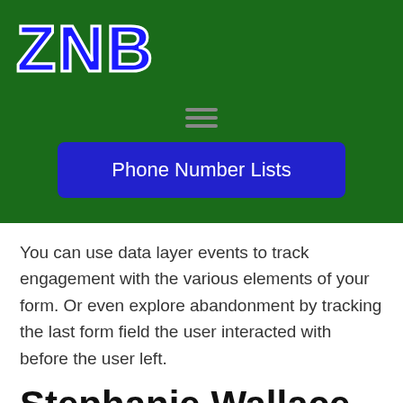[Figure (logo): ZNB logo in bold blue letters with white outline on dark green background]
[Figure (other): Hamburger menu icon (three horizontal lines) on dark green background]
Phone Number Lists
You can use data layer events to track engagement with the various elements of your form. Or even explore abandonment by tracking the last form field the user interacted with before the user left.
Stephanie Wallace Armenia Mobile Number